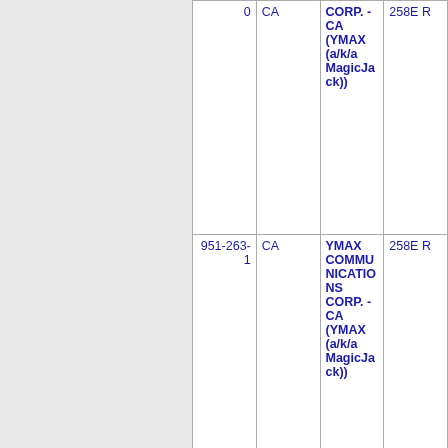| Number | State | Carrier Name | Address |
| --- | --- | --- | --- |
| 0 | CA | YMAX COMMUNICATIONS CORP. - CA (YMAX (a/k/a MagicJack)) | 258E R… |
| 951-263-1 | CA | YMAX COMMUNICATIONS CORP. - CA (YMAX (a/k/a MagicJack)) | 258E R… |